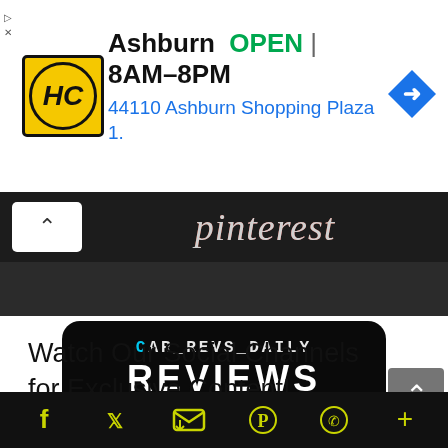[Figure (screenshot): Ad banner for Halterman's Car Dealer Ashburn location showing logo, OPEN status 8AM-8PM, and address 44110 Ashburn Shopping Plaza 1., with navigation arrow icon]
[Figure (logo): Pinterest logo on dark background with upward chevron button]
[Figure (logo): CAR_REVS_DAILY REVIEWS badge on black rounded rectangle]
Watch Our Social Channels for Exclusive Content!
[Figure (infographic): Bottom dark toolbar with social media icons: Facebook, Twitter, Email, Pinterest, WhatsApp, Plus in yellow/green color]